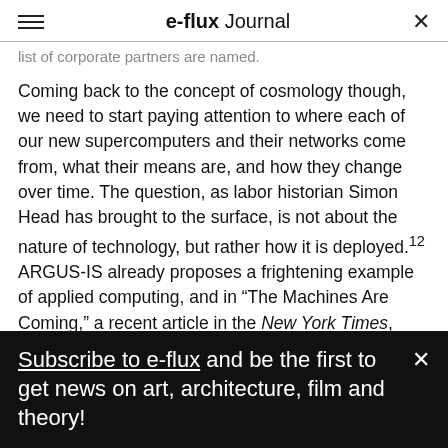e-flux Journal
list of corporate partners are named.
Coming back to the concept of cosmology though, we need to start paying attention to where each of our new supercomputers and their networks come from, what their means are, and how they change over time. The question, as labor historian Simon Head has brought to the surface, is not about the nature of technology, but rather how it is deployed.¹² ARGUS-IS already proposes a frightening example of applied computing, and in “The Machines Are Coming,” a recent article in the New York Times, author Zeynep Tufekci opined, “computers do not
Subscribe to e-flux and be the first to get news on art, architecture, film and theory!